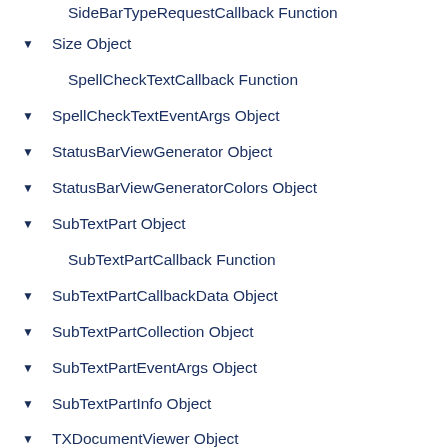SideBarTypeRequestCallback Function
Size Object
SpellCheckTextCallback Function
SpellCheckTextEventArgs Object
StatusBarViewGenerator Object
StatusBarViewGeneratorColors Object
SubTextPart Object
SubTextPartCallback Function
SubTextPartCallbackData Object
SubTextPartCollection Object
SubTextPartEventArgs Object
SubTextPartInfo Object
TXDocumentViewer Object
TXTextControl Object
ApplicationField Object
BaseField Object